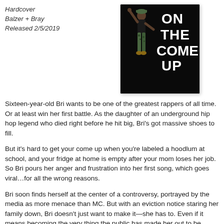Hardcover
Balzer + Bray
Released 2/5/2019
[Figure (illustration): Book cover for 'On the Come Up' showing a silhouette of a girl in a hip-hop pose against a black background with large white bold text reading ON THE COME UP]
Sixteen-year-old Bri wants to be one of the greatest rappers of all time. Or at least win her first battle. As the daughter of an underground hip hop legend who died right before he hit big, Bri's got massive shoes to fill.
But it's hard to get your come up when you're labeled a hoodlum at school, and your fridge at home is empty after your mom loses her job. So Bri pours her anger and frustration into her first song, which goes viral…for all the wrong reasons.
Bri soon finds herself at the center of a controversy, portrayed by the media as more menace than MC. But with an eviction notice staring her family down, Bri doesn't just want to make it—she has to. Even if it means becoming the very thing the public has made her out to be.